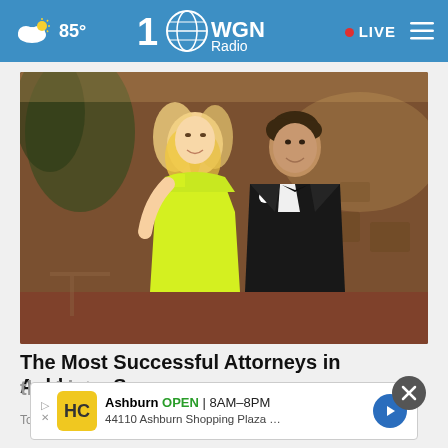85° WGN Radio • LIVE
[Figure (photo): A woman in a bright yellow-green strapless dress and a man in a black tuxedo with bow tie and white boutonniere posing together at a formal event in a ballroom setting.]
The Most Successful Attorneys in Ashburn, See the List
Top A...
[Figure (infographic): Advertisement for HC showing Ashburn OPEN 8AM-8PM, 44110 Ashburn Shopping Plaza ...]